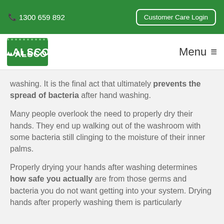📞 1300 659 892    Customer Care Login
[Figure (logo): Alsco logo — white text on green background]
washing. It is the final act that ultimately prevents the spread of bacteria after hand washing.
Many people overlook the need to properly dry their hands. They end up walking out of the washroom with some bacteria still clinging to the moisture of their inner palms.
Properly drying your hands after washing determines how safe you actually are from those germs and bacteria you do not want getting into your system. Drying hands after properly washing them is particularly